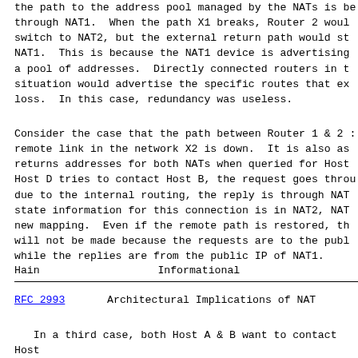the path to the address pool managed by the NATs is be through NAT1.  When the path X1 breaks, Router 2 woul switch to NAT2, but the external return path would st NAT1.  This is because the NAT1 device is advertising a pool of addresses.  Directly connected routers in t situation would advertise the specific routes that ex loss.  In this case, redundancy was useless.
Consider the case that the path between Router 1 & 2 remote link in the network X2 is down.  It is also as returns addresses for both NATs when queried for Host Host D tries to contact Host B, the request goes throu due to the internal routing, the reply is through NAT state information for this connection is in NAT2, NAT new mapping.  Even if the remote path is restored, th will not be made because the requests are to the publ while the replies are from the public IP of NAT1.
Hain                        Informational
RFC 2993       Architectural Implications of NAT
In a third case, both Host A & B want to contact Host remote link X2 in the Internet breaks.  As long as th